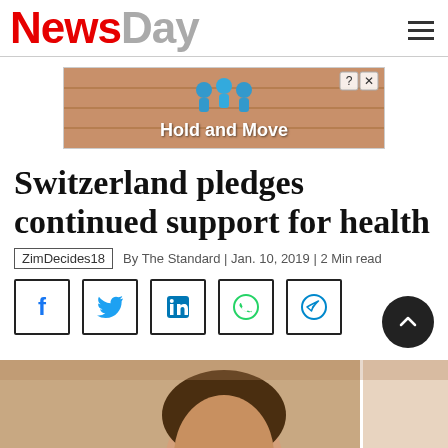NewsDay
[Figure (illustration): Advertisement banner with blue cartoon figures and text 'Hold and Move' on a wooden background]
Switzerland pledges continued support for health
ZimDecides18   By The Standard | Jan. 10, 2019 | 2 Min read
[Figure (infographic): Social media share icons: Facebook, Twitter, LinkedIn, WhatsApp, Telegram]
[Figure (photo): Portrait photo of a person (partially visible, cropped)]